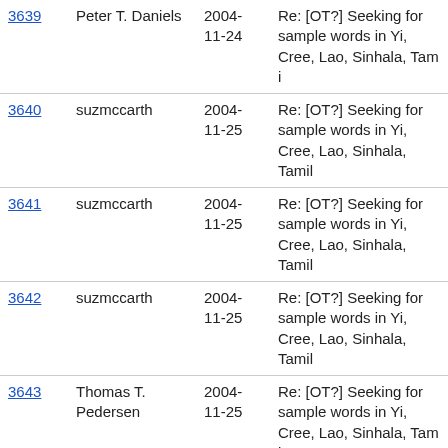| # | Author | Date | Subject |
| --- | --- | --- | --- |
| 3639 | Peter T. Daniels | 2004-11-24 | Re: [OT?] Seeking for sample words in Yi, Cree, Lao, Sinhala, Tam i |
| 3640 | suzmccarth | 2004-11-25 | Re: [OT?] Seeking for sample words in Yi, Cree, Lao, Sinhala, Tamil |
| 3641 | suzmccarth | 2004-11-25 | Re: [OT?] Seeking for sample words in Yi, Cree, Lao, Sinhala, Tamil |
| 3642 | suzmccarth | 2004-11-25 | Re: [OT?] Seeking for sample words in Yi, Cree, Lao, Sinhala, Tamil |
| 3643 | Thomas T. Pedersen | 2004-11-25 | Re: [OT?] Seeking for sample words in Yi, Cree, Lao, Sinhala, Tam i |
| 3644 | wkuhl44238@... | 2004-11-25 | Re: [OT?] Seeking for sample words in Yi, Cree, Lao, Sinhala, Tamil |
| 3645 | Marco Cimarosti | 2004-11-25 | Re: [OT?] Seeking for sample words in Yi, Cree, Lao, Sinhala, Tam i |
| 3646 | suzmccarth | 2004-11-26 | Re: [OT?] Seeking for sample words in Yi, Cree, Lao, Sinhala, Tamil |